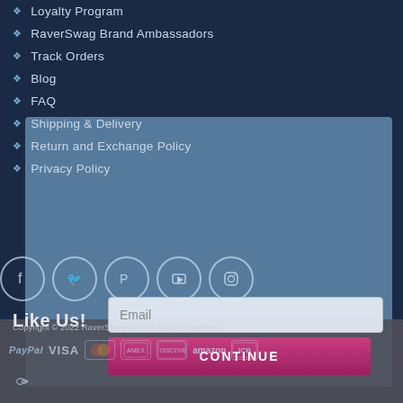Loyalty Program
RaverSwag Brand Ambassadors
Track Orders
Blog
FAQ
Shipping & Delivery
Return and Exchange Policy
Privacy Policy
[Figure (other): Social media icon buttons: Facebook, Twitter, Pinterest, YouTube, Instagram circles]
Like Us!
Email
CONTINUE
Copyright © 2022 RaverSwag and All Rights Reserved.
[Figure (other): Payment method logos: PayPal, VISA, Mastercard, American Express, Discover, Amazon, JCB, NFC/contactless]